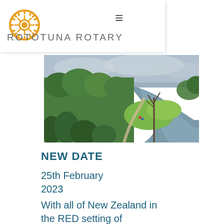ROTOTUNA ROTARY
[Figure (photo): Aerial view of a river with lush green trees and a pathway alongside, grey cloudy sky, New Zealand landscape]
NEW DATE
25th February 2023
With all of New Zealand in the RED setting of